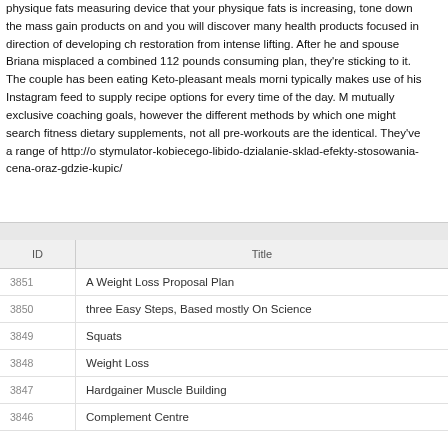physique fats measuring device that your physique fats is increasing, tone down the mass gain products on and you will discover many health products focused in direction of developing ch restoration from intense lifting. After he and spouse Briana misplaced a combined 112 pounds consuming plan, they're sticking to it. The couple has been eating Keto-pleasant meals morni typically makes use of his Instagram feed to supply recipe options for every time of the day. M mutually exclusive coaching goals, however the different methods by which one might search fitness dietary supplements, not all pre-workouts are the identical. They've a range of http://o stymulator-kobiecego-libido-dzialanie-sklad-efekty-stosowania-cena-oraz-gdzie-kupic/
| ID | Title |
| --- | --- |
| 3851 | A Weight Loss Proposal Plan |
| 3850 | three Easy Steps, Based mostly On Science |
| 3849 | Squats |
| 3848 | Weight Loss |
| 3847 | Hardgainer Muscle Building |
| 3846 | Complement Centre |